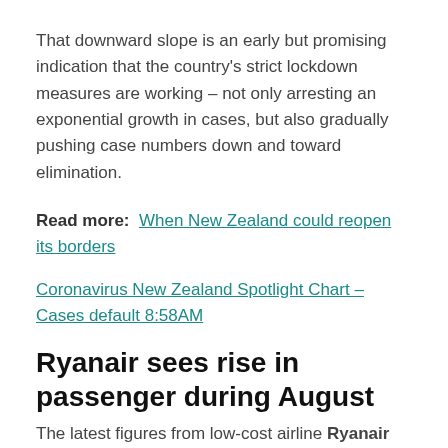That downward slope is an early but promising indication that the country's strict lockdown measures are working – not only arresting an exponential growth in cases, but also gradually pushing case numbers down and toward elimination.
Read more:  When New Zealand could reopen its borders
Coronavirus New Zealand Spotlight Chart – Cases default 8:58AM
Ryanair sees rise in passenger during August
The latest figures from low-cost airline Ryanair show that 3.1 million more passengers flew with them in August 2021 compared to the same month in 2020.